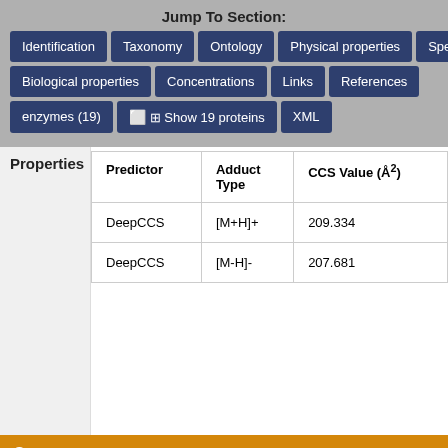Jump To Section:
Identification
Taxonomy
Ontology
Physical properties
Spectra
Biological properties
Concentrations
Links
References
enzymes (19)
Show 19 proteins
XML
Properties
| Predictor | Adduct Type | CCS Value (Å²) |
| --- | --- | --- |
| DeepCCS | [M+H]+ | 209.334 |
| DeepCCS | [M-H]- | 207.681 |
Spectra
MS/MS Spectra
Spectrum Type
Description
Spl